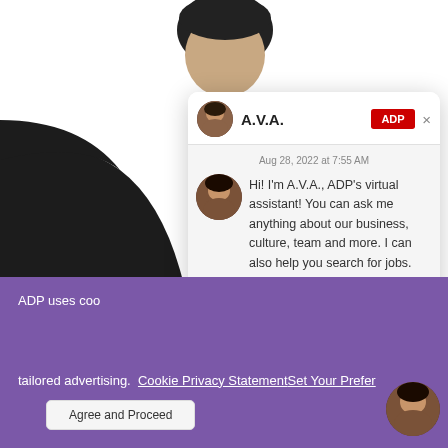[Figure (screenshot): ADP A.V.A. chat widget screenshot showing a virtual assistant chatbot interface with avatar, timestamp 'Aug 28, 2022 at 7:55 AM', message 'Hi! I'm A.V.A., ADP's virtual assistant! You can ask me anything about our business, culture, team and more. I can also help you search for jobs.', a text input field saying 'Type a message', a red Send button, and footer with Terms and Powered by Paradox. Behind the widget is a photo of a man and a dark figure. Below is a purple cookie consent banner reading 'ADP uses cookies...' with links to Cookie Privacy Statement and Set Your Preferences, and an Agree and Proceed button.]
A.V.A.
Aug 28, 2022 at 7:55 AM
Hi! I'm A.V.A., ADP's virtual assistant! You can ask me anything about our business, culture, team and more. I can also help you search for jobs.
Type a message
Send
Terms | Powered by Paradox
ADP uses cookies
tailored advertising. Cookie Privacy Statement Set Your Preferences
Agree and Proceed